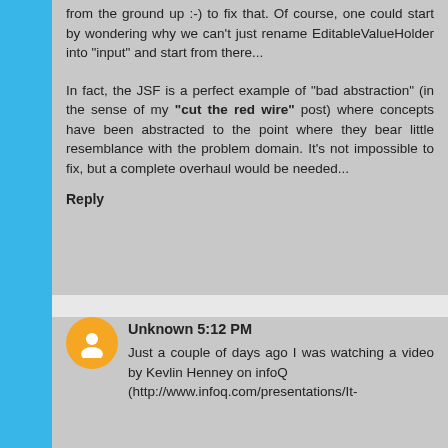from the ground up :-) to fix that. Of course, one could start by wondering why we can't just rename EditableValueHolder into "input" and start from there...
In fact, the JSF is a perfect example of "bad abstraction" (in the sense of my "cut the red wire" post) where concepts have been abstracted to the point where they bear little resemblance with the problem domain. It's not impossible to fix, but a complete overhaul would be needed...
Reply
Unknown 5:12 PM
Just a couple of days ago I was watching a video by Kevlin Henney on infoQ (http://www.infoq.com/presentations/It-